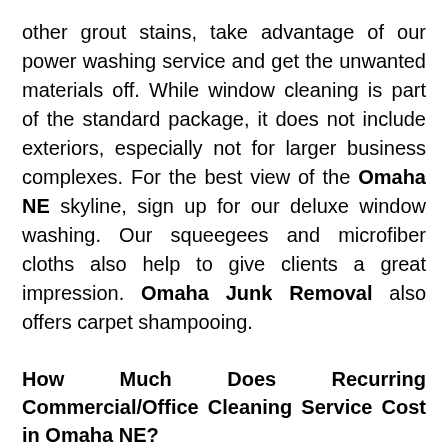other grout stains, take advantage of our power washing service and get the unwanted materials off. While window cleaning is part of the standard package, it does not include exteriors, especially not for larger business complexes. For the best view of the Omaha NE skyline, sign up for our deluxe window washing. Our squeegees and microfiber cloths also help to give clients a great impression. Omaha Junk Removal also offers carpet shampooing.
How Much Does Recurring Commercial/Office Cleaning Service Cost in Omaha NE?
The cost for commercial and office cleaning